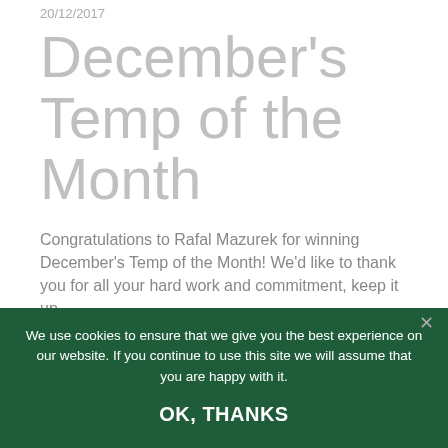20/12/2017
December's Temp of the Month
Congratulations to Rafal Mazurek for winning December's Temp of the Month! We'd like to thank you for all your hard work and commitment, keep it up.
We use cookies to ensure that we give you the best experience on our website. If you continue to use this site we will assume that you are happy with it.
OK, THANKS